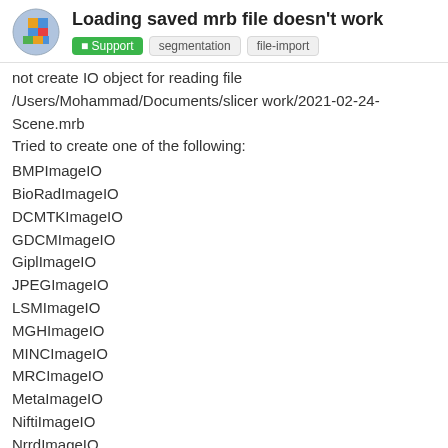Loading saved mrb file doesn't work
not create IO object for reading file /Users/Mohammad/Documents/slicer work/2021-02-24-Scene.mrb
Tried to create one of the following:
BMPImageIO
BioRadImageIO
DCMTKImageIO
GDCMImageIO
GiplImageIO
JPEGImageIO
LSMImageIO
MGHImageIO
MINCImageIO
MRCImageIO
MetaImageIO
NiftiImageIO
NrrdImageIO
PNGImageIO
StimulateImageIO